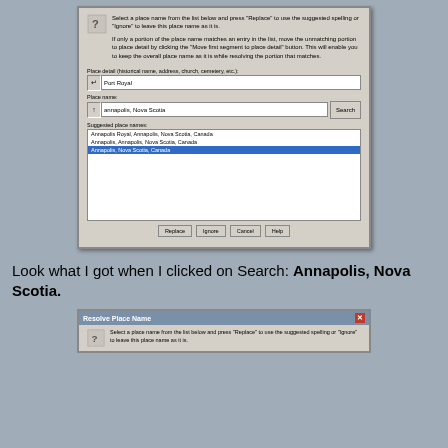[Figure (screenshot): Screenshot of a 'Resolve Place Name' dialog box showing place detail field with 'Port Royal', place name field with 'annapolis, Nova Scotia', a Search button, and a list of suggested place names including 'Annapolis Royal, Annapolis, Nova Scotia, Canada', 'Annapolis, Annapolis, Nova Scotia, Canada', and 'Annapolis, Nova Scotia, Canada' (highlighted in blue).]
Look what I got when I clicked on Search: Annapolis, Nova Scotia.
[Figure (screenshot): Partial screenshot of another 'Resolve Place Name' dialog box with title bar and beginning of dialog text visible.]